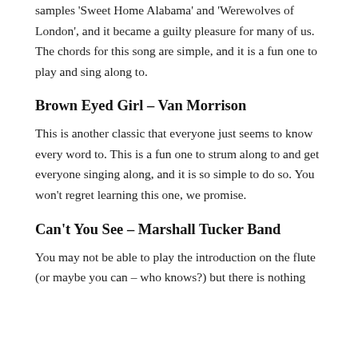samples 'Sweet Home Alabama' and 'Werewolves of London', and it became a guilty pleasure for many of us. The chords for this song are simple, and it is a fun one to play and sing along to.
Brown Eyed Girl – Van Morrison
This is another classic that everyone just seems to know every word to. This is a fun one to strum along to and get everyone singing along, and it is so simple to do so. You won't regret learning this one, we promise.
Can't You See – Marshall Tucker Band
You may not be able to play the introduction on the flute (or maybe you can – who knows?) but there is nothing